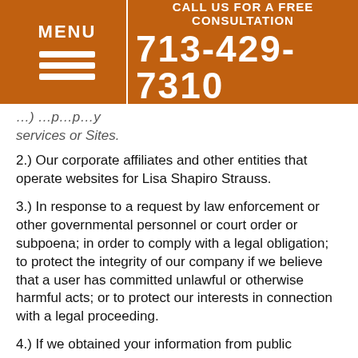MENU | CALL US FOR A FREE CONSULTATION 713-429-7310
…) …p…p…y services or Sites.
2.) Our corporate affiliates and other entities that operate websites for Lisa Shapiro Strauss.
3.) In response to a request by law enforcement or other governmental personnel or court order or subpoena; in order to comply with a legal obligation; to protect the integrity of our company if we believe that a user has committed unlawful or otherwise harmful acts; or to protect our interests in connection with a legal proceeding.
4.) If we obtained your information from public sources.